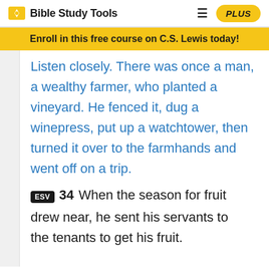Bible Study Tools | PLUS
Enroll in this free course on C.S. Lewis today!
Listen closely. There was once a man, a wealthy farmer, who planted a vineyard. He fenced it, dug a winepress, put up a watchtower, then turned it over to the farmhands and went off on a trip.
ESV 34 When the season for fruit drew near, he sent his servants to the tenants to get his fruit.